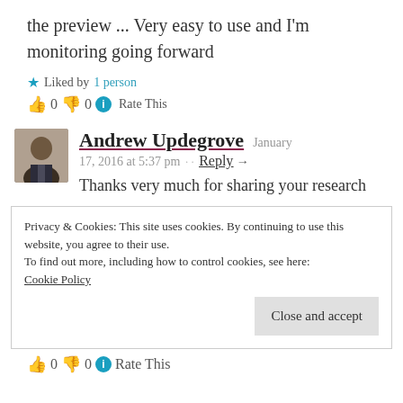the preview ... Very easy to use and I'm monitoring going forward
Liked by 1 person
👍 0 👎 0 ℹ Rate This
Andrew Updegrove  January 17, 2016 at 5:37 pm · · Reply →
Thanks very much for sharing your research
Privacy & Cookies: This site uses cookies. By continuing to use this website, you agree to their use.
To find out more, including how to control cookies, see here:
Cookie Policy
Close and accept
👍 0 👎 0 ℹ Rate This